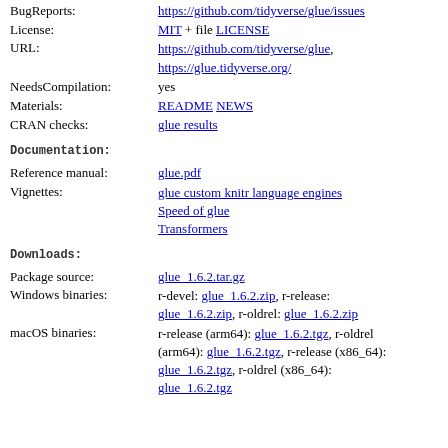BugReports: https://github.com/tidyverse/glue/issues
License: MIT + file LICENSE
URL: https://github.com/tidyverse/glue, https://glue.tidyverse.org/
NeedsCompilation: yes
Materials: README NEWS
CRAN checks: glue results
Documentation:
Reference manual: glue.pdf
Vignettes: glue custom knitr language engines
Speed of glue
Transformers
Downloads:
Package source: glue_1.6.2.tar.gz
Windows binaries: r-devel: glue_1.6.2.zip, r-release: glue_1.6.2.zip, r-oldrel: glue_1.6.2.zip
macOS binaries: r-release (arm64): glue_1.6.2.tgz, r-oldrel (arm64): glue_1.6.2.tgz, r-release (x86_64): glue_1.6.2.tgz, r-oldrel (x86_64): glue_1.6.2.tgz